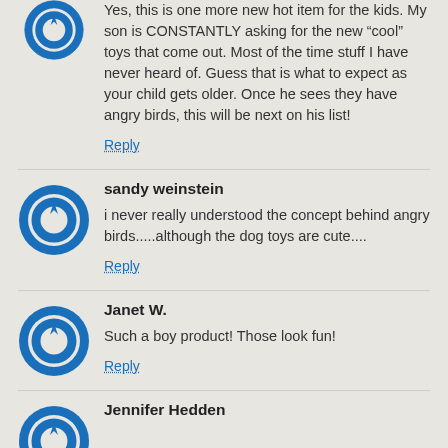Yes, this is one more new hot item for the kids. My son is CONSTANTLY asking for the new “cool” toys that come out. Most of the time stuff I have never heard of. Guess that is what to expect as your child gets older. Once he sees they have angry birds, this will be next on his list!
Reply
sandy weinstein
i never really understood the concept behind angry birds.....although the dog toys are cute....
Reply
Janet W.
Such a boy product! Those look fun!
Reply
Jennifer Hedden